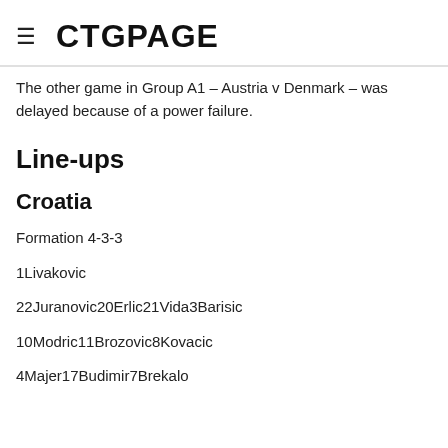CTGPAGE
The other game in Group A1 – Austria v Denmark – was delayed because of a power failure.
Line-ups
Croatia
Formation 4-3-3
1Livakovic
22Juranovic20Erlic21Vida3Barisic
10Modric11Brozovic8Kovacic
4Majer17Budimir7Brekalo